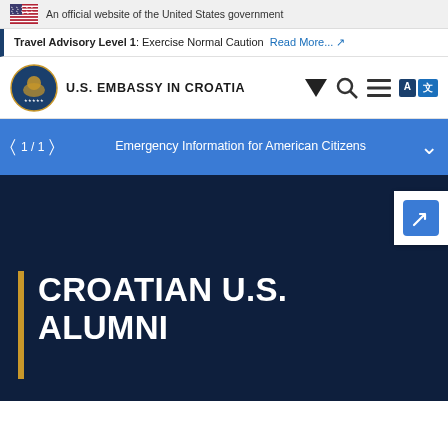An official website of the United States government
Travel Advisory Level 1: Exercise Normal Caution  Read More...
[Figure (logo): U.S. Embassy in Croatia seal/logo with eagle emblem]
U.S. EMBASSY IN CROATIA
1 / 1  Emergency Information for American Citizens
CROATIAN U.S. ALUMNI